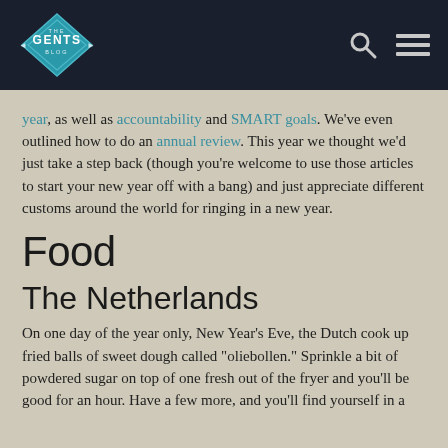THE GENTS BLOG
year, as well as accountability and SMART goals.  We've even outlined how to do an annual review.  This year we thought we'd just take a step back (though you're welcome to use those articles to start your new year off with a bang) and just appreciate different customs around the world for ringing in a new year.
Food
The Netherlands
On one day of the year only, New Year's Eve, the Dutch cook up fried balls of sweet dough called "oliebollen."  Sprinkle a bit of powdered sugar on top of one fresh out of the fryer and you'll be good for an hour.  Have a few more, and you'll find yourself in a